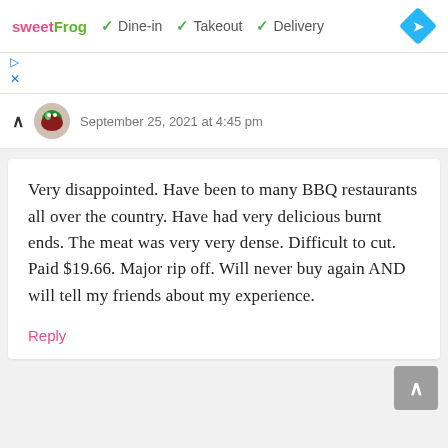[Figure (screenshot): Sweet Frog logo and service options: Dine-in, Takeout, Delivery with checkmarks, and a navigation arrow icon]
[Figure (screenshot): Ad close/play controls: play triangle and X icons]
September 25, 2021 at 4:45 pm
Very disappointed. Have been to many BBQ restaurants all over the country. Have had very delicious burnt ends. The meat was very very dense. Difficult to cut. Paid $19.66. Major rip off. Will never buy again AND will tell my friends about my experience.
Reply